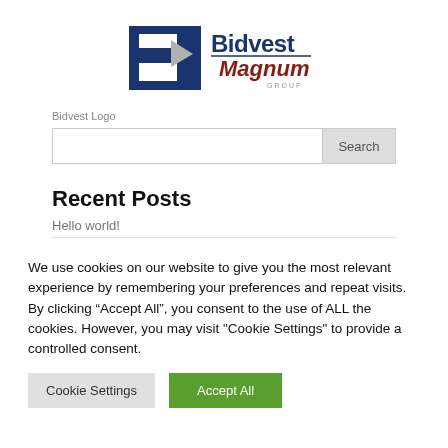[Figure (logo): Bidvest Magnum Group logo with blue B shape and arrow, blue text 'Bidvest' and red text 'Magnum', small grey text 'GROUP']
Bidvest Logo
Search
Recent Posts
Hello world!
We use cookies on our website to give you the most relevant experience by remembering your preferences and repeat visits. By clicking “Accept All”, you consent to the use of ALL the cookies. However, you may visit "Cookie Settings" to provide a controlled consent.
Cookie Settings
Accept All